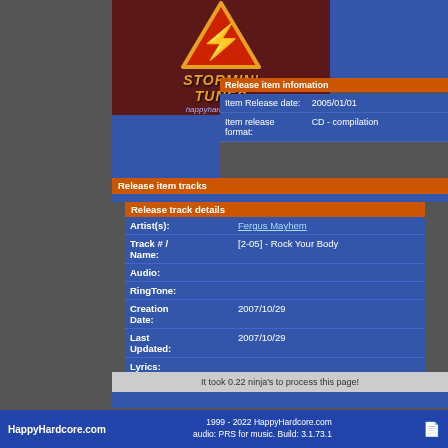[Figure (logo): Stormin' Tunes logo with lightning bolt triangle on dark red background, with happyhardcore.com text]
[Figure (photo): No Photo placeholder box]
Release item infomation
| Field | Value |
| --- | --- |
| Item Release date: | 2005/01/01 |
| Item release format: | CD - compilation |
Release item tracks
Release track details
| Field | Value |
| --- | --- |
| Artist(s): | Fergus Mayhem |
| Track # / Name: | [2-05] - Rock Your Body |
| Audio: |  |
| RingTone: |  |
| Creation Date: | 2007/10/29 |
| Last Updated: | 2007/10/29 |
| Lyrics: |  |
It took 0.22 ninja's to process this page!
HappyHardcore.com  1999 - 2022 HappyHardcore.com audio: PRS for music. Build: 3.1.73.1